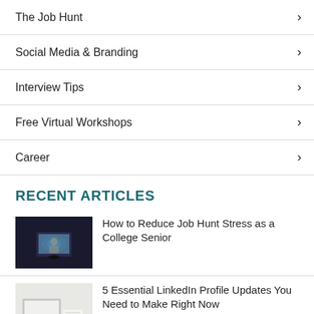The Job Hunt
Social Media & Branding
Interview Tips
Free Virtual Workshops
Career
RECENT ARTICLES
[Figure (photo): Person sitting in dark room in front of a laptop screen]
How to Reduce Job Hunt Stress as a College Senior
[Figure (photo): Office desk with laptop, notebook and coffee cup in bright daylight]
5 Essential LinkedIn Profile Updates You Need to Make Right Now